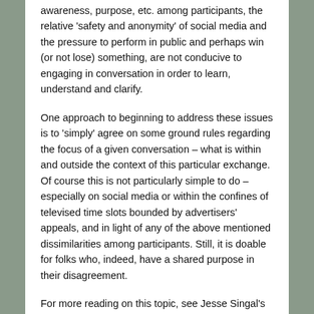awareness, purpose, etc. among participants, the relative 'safety and anonymity' of social media and the pressure to perform in public and perhaps win (or not lose) something, are not conducive to engaging in conversation in order to learn, understand and clarify.
One approach to beginning to address these issues is to 'simply' agree on some ground rules regarding the focus of a given conversation – what is within and outside the context of this particular exchange. Of course this is not particularly simple to do – especially on social media or within the confines of televised time slots bounded by advertisers' appeals, and in light of any of the above mentioned dissimilarities among participants. Still, it is doable for folks who, indeed, have a shared purpose in their disagreement.
For more reading on this topic, see Jesse Singal's "The New Science of How to Argue—Constructively," and one of his sources, John Nerst, who coined the word erisology to capture the study of unsuccessful disagreement. Full links below.